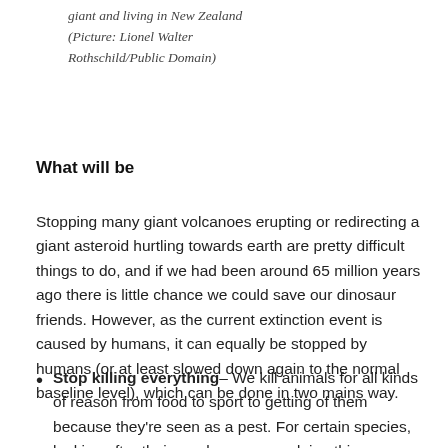giant and living in New Zealand (Picture: Lionel Walter Rothschild/Public Domain)
What will be
Stopping many giant volcanoes erupting or redirecting a giant asteroid hurtling towards earth are pretty difficult things to do, and if we had been around 65 million years ago there is little chance we could save our dinosaur friends. However, as the current extinction event is caused by humans, it can equally be stopped by humans (or at least slowed down again to the normal baseline level), which can be done in two mains way.
Stop killing everything– We kill animals for all kinds of reason from food to sport to getting of them because they're seen as a pest. For certain species, looking after their numbers means doing this harvesting by only taking